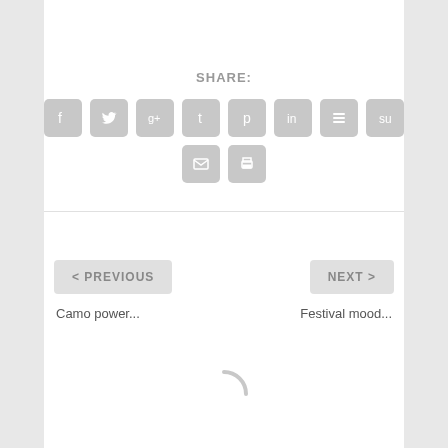SHARE:
[Figure (infographic): Row of 8 social sharing icon buttons (Facebook, Twitter, Google+, Tumblr, Pinterest, LinkedIn, Buffer, StumbleUpon) in grey rounded squares, followed by a second row with 2 icons (Email, Print)]
< PREVIOUS
NEXT >
Camo power...
Festival mood...
[Figure (infographic): Loading spinner arc in light grey at bottom of page]